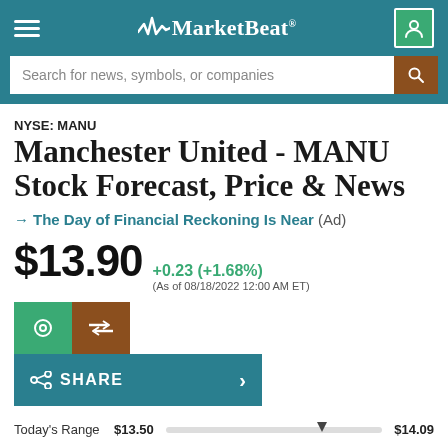MarketBeat
Search for news, symbols, or companies
NYSE: MANU
Manchester United - MANU Stock Forecast, Price & News
→ The Day of Financial Reckoning Is Near (Ad)
$13.90 +0.23 (+1.68%) (As of 08/18/2022 12:00 AM ET)
SHARE
Today's Range $13.50 $14.09